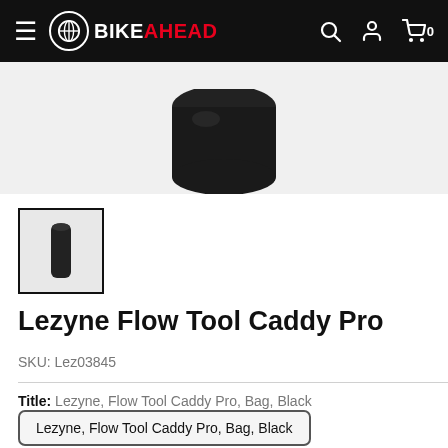BikeAhead navigation bar with logo, hamburger menu, search, account, and cart icons
[Figure (photo): Bottom portion of a black cylindrical tool caddy bag product photo against light background]
[Figure (photo): Thumbnail image of the Lezyne Flow Tool Caddy Pro in black, shown in a bordered thumbnail selector]
Lezyne Flow Tool Caddy Pro
SKU: Lez03845
Title: Lezyne, Flow Tool Caddy Pro, Bag, Black
Lezyne, Flow Tool Caddy Pro, Bag, Black
Price: $29.99